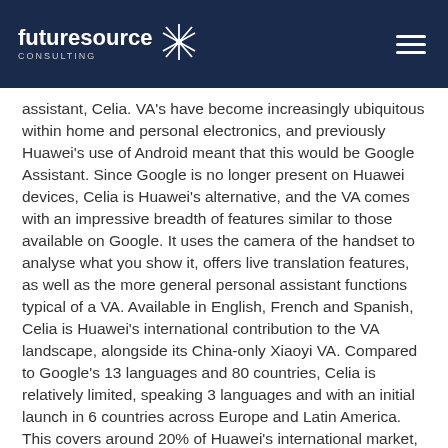futuresource CONSULTING
assistant, Celia. VA's have become increasingly ubiquitous within home and personal electronics, and previously Huawei's use of Android meant that this would be Google Assistant. Since Google is no longer present on Huawei devices, Celia is Huawei's alternative, and the VA comes with an impressive breadth of features similar to those available on Google. It uses the camera of the handset to analyse what you show it, offers live translation features, as well as the more general personal assistant functions typical of a VA. Available in English, French and Spanish, Celia is Huawei's international contribution to the VA landscape, alongside its China-only Xiaoyi VA. Compared to Google's 13 languages and 80 countries, Celia is relatively limited, speaking 3 languages and with an initial launch in 6 countries across Europe and Latin America. This covers around 20% of Huawei's international market, though an expansion of the VA is expected, especially if Huawei remains unable to access Google Mobile Services.